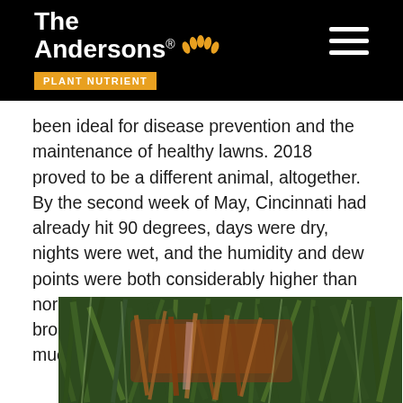The Andersons PLANT NUTRIENT
been ideal for disease prevention and the maintenance of healthy lawns. 2018 proved to be a different animal, altogether. By the second week of May, Cincinnati had already hit 90 degrees, days were dry, nights were wet, and the humidity and dew points were both considerably higher than normal. This dangerous combination brought with it an outbreak of brown patch, much earlier than McIntosh expected.
[Figure (photo): Close-up photograph of grass blades showing brown patch disease with reddish-brown discoloration on green grass blades]